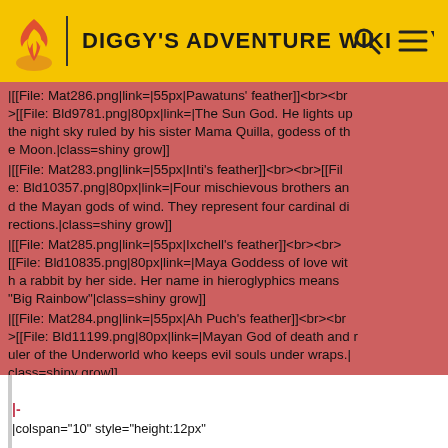DIGGY'S ADVENTURE WIKI
|[[File: Mat286.png|link=|55px|Pawatuns' feather]]<br><br>[[File: Bld9781.png|80px|link=|The Sun God. He lights up the night sky ruled by his sister Mama Quilla, godess of the Moon.|class=shiny grow]]
|[[File: Mat283.png|link=|55px|Inti's feather]]<br><br>[[File: Bld10357.png|80px|link=|Four mischievous brothers and the Mayan gods of wind. They represent four cardinal directions.|class=shiny grow]]
|[[File: Mat285.png|link=|55px|Ixchell's feather]]<br><br>[[File: Bld10835.png|80px|link=|Maya Goddess of love with a rabbit by her side. Her name in hieroglyphics means "Big Rainbow"|class=shiny grow]]
|[[File: Mat284.png|link=|55px|Ah Puch's feather]]<br><br>[[File: Bld11199.png|80px|link=|Mayan God of death and ruler of the Underworld who keeps evil souls under wraps.|class=shiny grow]]
|-
|colspan="10" style="height:12px"